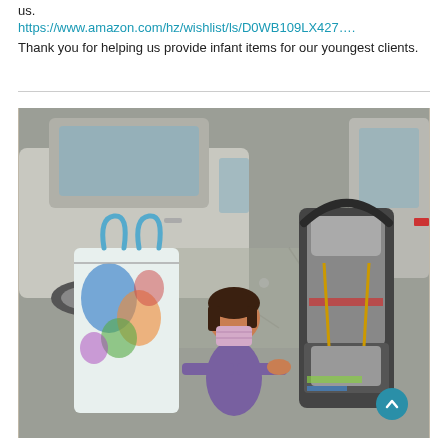us.
https://www.amazon.com/hz/wishlist/ls/D0WB109LX427….
Thank you for helping us provide infant items for our youngest clients.
[Figure (photo): A young child wearing a face mask stands between a large colorful bag and a car seat in a parking lot. Cars are visible in the background.]